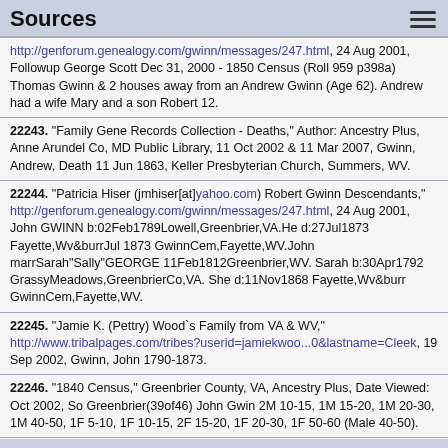Sources
http://genforum.genealogy.com/gwinn/messages/247.html, 24 Aug 2001, Followup George Scott Dec 31, 2000 - 1850 Census (Roll 959 p398a) Thomas Gwinn & 2 houses away from an Andrew Gwinn (Age 62). Andrew had a wife Mary and a son Robert 12.
22243. "Family Gene Records Collection - Deaths," Author: Ancestry Plus, Anne Arundel Co, MD Public Library, 11 Oct 2002 & 11 Mar 2007, Gwinn, Andrew, Death 11 Jun 1863, Keller Presbyterian Church, Summers, WV.
22244. "Patricia Hiser (jmhiser[at]yahoo.com) Robert Gwinn Descendants," http://genforum.genealogy.com/gwinn/messages/247.html, 24 Aug 2001, John GWINN b:02Feb1789Lowell,Greenbrier,VA.He d:27Jul1873 Fayette,Wv&burrJul 1873 GwinnCem,Fayette,WV.John marrSarah"Sally"GEORGE 11Feb1812Greenbrier,WV. Sarah b:30Apr1792 GrassyMeadows,GreenbrierCo,VA. She d:11Nov1868 Fayette,Wv&burr GwinnCem,Fayette,WV.
22245. "Jamie K. (Pettry) Wood`s Family from VA & WV," http://www.tribalpages.com/tribes?userid=jamiekwoo...0&lastname=Cleek, 19 Sep 2002, Gwinn, John 1790-1873.
22246. "1840 Census," Greenbrier County, VA, Ancestry Plus, Date Viewed: Oct 2002, So Greenbrier(39of46) John Gwin 2M 10-15, 1M 15-20, 1M 20-30, 1M 40-50, 1F 5-10, 1F 10-15, 2F 15-20, 1F 20-30, 1F 50-60 (Male 40-50).
22247. Author: Descendants of Robert Gwin of Augusta Co, VA, http://www.riverduck.com/genealogy/gwin/index.html, 21 Feb 2004, Children of Samuel & Elizabeth are: John m. Sarah George, dau. of Thomas.
22248. Author: Larry G. Shuck, Greenbrier County Marriages, 1782-1900 in three volumes, Iberian Publishing Co, Athens, GA, Location: FHI, 11 May